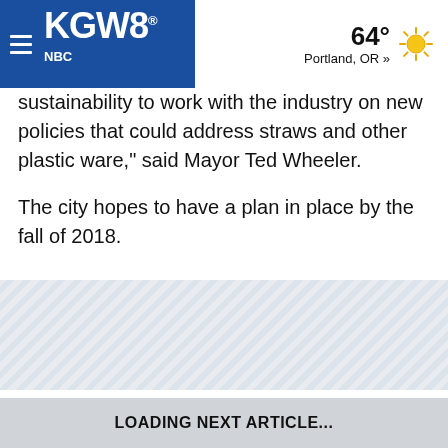KGW8 — 64° Portland, OR »
sustainability to work with the industry on new policies that could address straws and other plastic ware,” said Mayor Ted Wheeler.
The city hopes to have a plan in place by the fall of 2018.
[Figure (other): Advertisement placeholder block with diagonal stripe pattern]
[Figure (other): Advertisement placeholder block with diagonal stripe pattern]
LOADING NEXT ARTICLE...